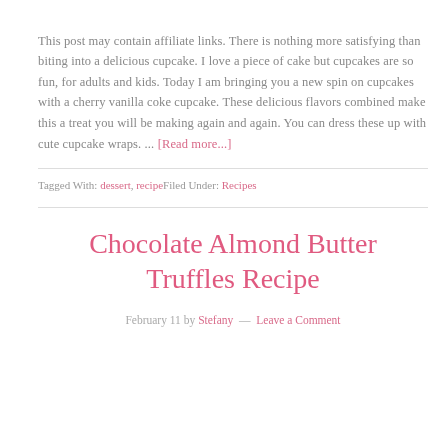This post may contain affiliate links. There is nothing more satisfying than biting into a delicious cupcake. I love a piece of cake but cupcakes are so fun, for adults and kids. Today I am bringing you a new spin on cupcakes with a cherry vanilla coke cupcake. These delicious flavors combined make this a treat you will be making again and again. You can dress these up with cute cupcake wraps. ... [Read more...]
Tagged With: dessert, recipeFiled Under: Recipes
Chocolate Almond Butter Truffles Recipe
February 11 by Stefany — Leave a Comment